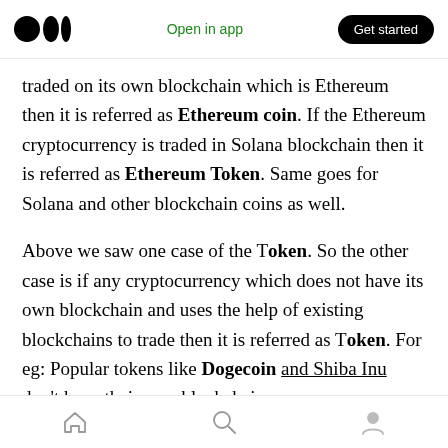Medium logo | Open in app | Get started
traded on its own blockchain which is Ethereum then it is referred as Ethereum coin. If the Ethereum cryptocurrency is traded in Solana blockchain then it is referred as Ethereum Token. Same goes for Solana and other blockchain coins as well.
Above we saw one case of the Token. So the other case is if any cryptocurrency which does not have its own blockchain and uses the help of existing blockchains to trade then it is referred as Token. For eg: Popular tokens like Dogecoin and Shiba Inu don't have their own blockchain
Home | Search | Profile